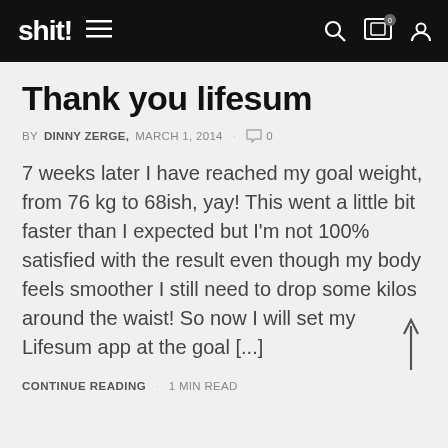shit! navigation bar with logo, hamburger menu, search, cart (0), and user icons
Thank you lifesum
BY DINNY ZERGE, MARCH 1, 2014 · 0
7 weeks later I have reached my goal weight, from 76 kg to 68ish, yay! This went a little bit faster than I expected but I'm not 100% satisfied with the result even though my body feels smoother I still need to drop some kilos around the waist! So now I will set my Lifesum app at the goal [...]
CONTINUE READING · 1 MIN READ